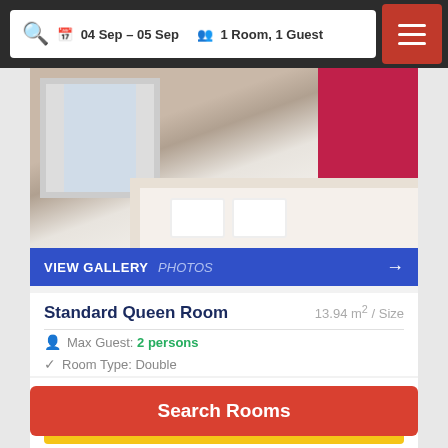04 Sep - 05 Sep  1 Room, 1 Guest
[Figure (photo): Hotel standard queen room with white bed, window with curtains, and red accent wall.]
VIEW GALLERY  PHOTOS →
Standard Queen Room   13.94 m² / Size
Max Guest: 2 persons
Room Type: Double
1 large double bed
Search Price ▶
Search Rooms